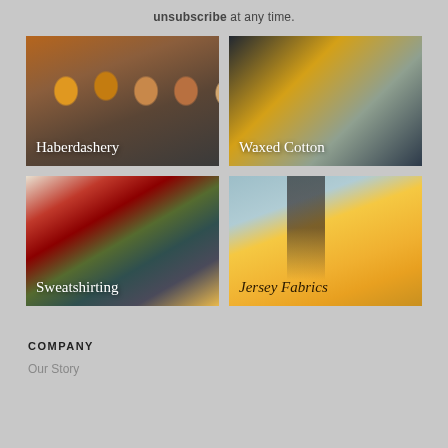unsubscribe at any time.
[Figure (photo): Thread spools and scissors on a wooden table with text 'Haberdashery']
[Figure (photo): Stacked folded fabrics in dark, yellow, and grey tones with text 'Waxed Cotton']
[Figure (photo): Rolled sweatshirting fabrics in red, green, grey, and yellow with text 'Sweatshirting']
[Figure (photo): Woman wearing yellow off-shoulder top with text 'Jersey Fabrics']
COMPANY
Our Story